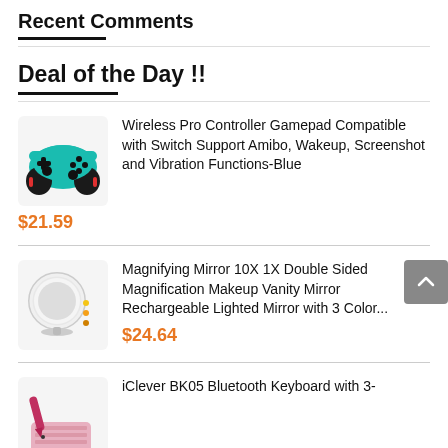Recent Comments
Deal of the Day !!
[Figure (photo): Wireless Pro Controller Gamepad, teal/blue color with black grips]
Wireless Pro Controller Gamepad Compatible with Switch Support Amibo, Wakeup, Screenshot and Vibration Functions-Blue
$21.59
[Figure (photo): Magnifying mirror, white round with light, stand-mounted]
Magnifying Mirror 10X 1X Double Sided Magnification Makeup Vanity Mirror Rechargeable Lighted Mirror with 3 Color...
$24.64
[Figure (photo): iClever BK05 Bluetooth Keyboard, pink/rose colored]
iClever BK05 Bluetooth Keyboard with 3-